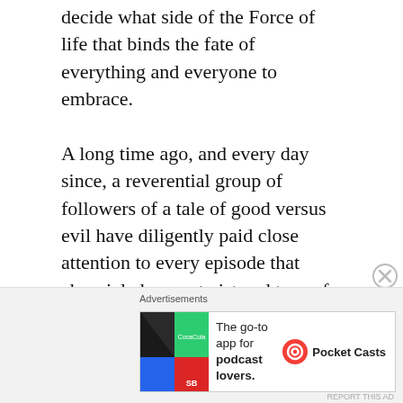decide what side of the Force of life that binds the fate of everything and everyone to embrace.

A long time ago, and every day since, a reverential group of followers of a tale of good versus evil have diligently paid close attention to every episode that chronicled every twist and turn of a saga that revolved around a “Phantom Menace”: a Dark Lord’s insidious corruption of the democracy of a Republic
[Figure (other): Advertisement banner for Pocket Casts podcast app with colorful logo tiles on the left and text 'The go-to app for podcast lovers.' with Pocket Casts logo on the right]